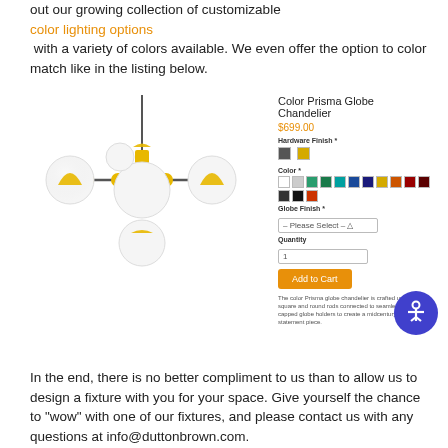out our growing collection of customizable color lighting options with a variety of colors available. We even offer the option to color match like in the listing below.
[Figure (screenshot): Product listing screenshot showing a Color Prisma Globe Chandelier at $699.00 with hardware finish swatches, color swatches, globe finish selector, quantity field, and Add to Cart button, alongside chandelier product image.]
In the end, there is no better compliment to us than to allow us to design a fixture with you for your space. Give yourself the chance to "wow" with one of our fixtures, and please contact us with any questions at info@duttonbrown.com.